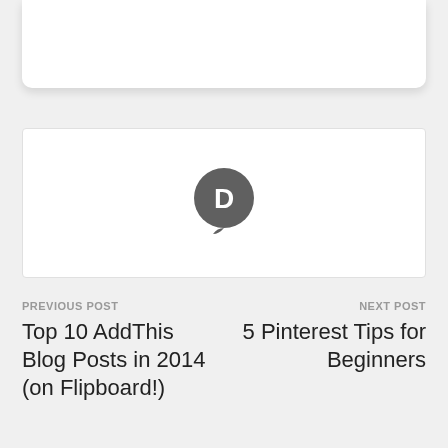[Figure (logo): Disqus speech bubble logo icon with letter D, dark gray color]
PREVIOUS POST
Top 10 AddThis Blog Posts in 2014 (on Flipboard!)
NEXT POST
5 Pinterest Tips for Beginners